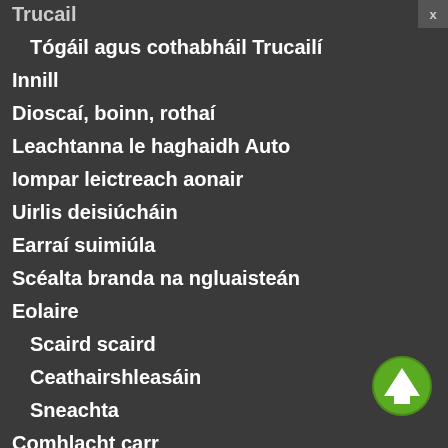Trucail
Tógáil agus cothabháil Trucailí
Innill
Dioscaí, boinn, rothaí
Leachtanna le haghaidh Auto
Iompar leictreach aonair
Uirlis deisiúcháin
Earraí suimiúla
Scéalta branda na ngluaisteán
Eolaire
Scaird scaird
Ceathairshleasáin
Sneachta
Comhlacht carr
Lógónna uathoibríoch branda
Múnlaí carr
Moto
Oibriú Gluaisrothar
[Figure (illustration): Green circular up-arrow scroll button in bottom right corner]